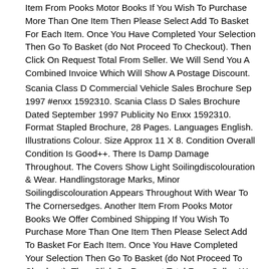Item From Pooks Motor Books If You Wish To Purchase More Than One Item Then Please Select Add To Basket For Each Item. Once You Have Completed Your Selection Then Go To Basket (do Not Proceed To Checkout). Then Click On Request Total From Seller. We Will Send You A Combined Invoice Which Will Show A Postage Discount.
Scania Class D Commercial Vehicle Sales Brochure Sep 1997 #enxx 1592310. Scania Class D Sales Brochure Dated September 1997 Publicity No Enxx 1592310. Format Stapled Brochure, 28 Pages. Languages English. Illustrations Colour. Size Approx 11 X 8. Condition Overall Condition Is Good++. There Is Damp Damage Throughout. The Covers Show Light Soilingdiscolouration & Wear. Handlingstorage Marks, Minor Soilingdiscolouration Appears Throughout With Wear To The Cornersedges. Another Item From Pooks Motor Books We Offer Combined Shipping If You Wish To Purchase More Than One Item Then Please Select Add To Basket For Each Item. Once You Have Completed Your Selection Then Go To Basket (do Not Proceed To Checkout). Then Click On Request Total From Seller. We Will Send You A Combined Invoice Which Will Show A Postage Discount.